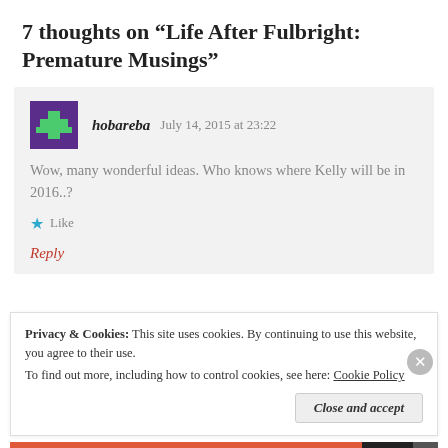7 thoughts on “Life After Fulbright: Premature Musings”
Wow, many wonderful ideas. Who knows where Kelly will be in 2016..?
hobareba   July 14, 2015 at 23:22
★ Like
Reply
Privacy & Cookies:  This site uses cookies. By continuing to use this website, you agree to their use.
To find out more, including how to control cookies, see here: Cookie Policy
Close and accept